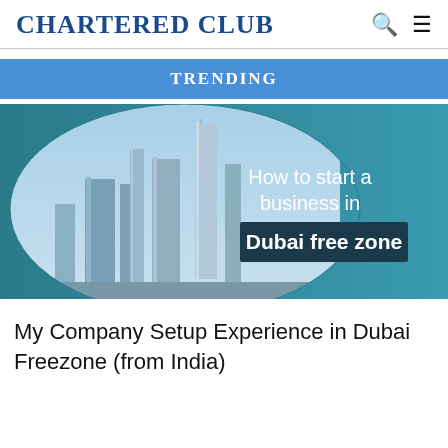Chartered Club
Trending
[Figure (illustration): Banner image showing Dubai skyline with skyscrapers on the left and text 'How to start a business in Dubai free zone' on the right side against a teal/blue background.]
My Company Setup Experience in Dubai Freezone (from India)